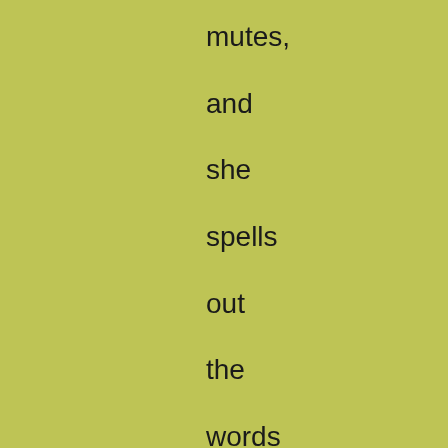mutes, and she spells out the words and sentences which she knows, so fast and so deftly, that only those